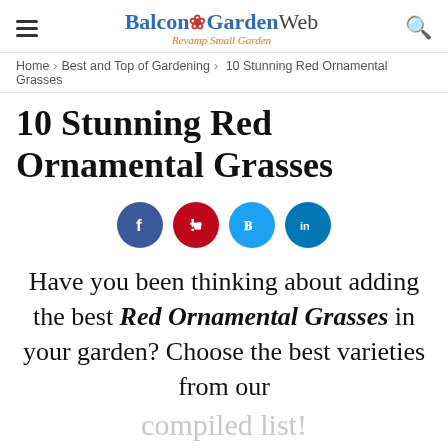Balcony Garden Web — Revamp Small Garden
Home › Best and Top of Gardening › 10 Stunning Red Ornamental Grasses
10 Stunning Red Ornamental Grasses
[Figure (infographic): Social share buttons: Facebook, Pinterest, Twitter, LinkedIn]
Have you been thinking about adding the best Red Ornamental Grasses in your garden? Choose the best varieties from our compiled list!